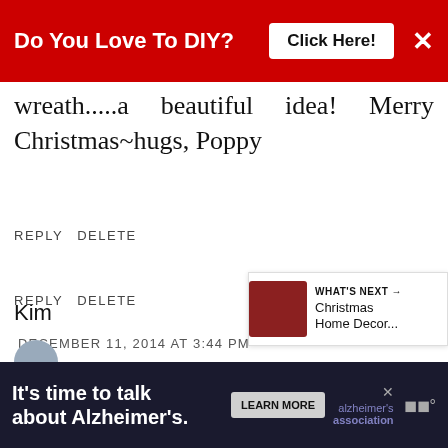Do You Love To DIY? Click Here!
wreath.....a beautiful idea! Merry Christmas~hugs, Poppy
REPLY  DELETE
Kim
DECEMBER 11, 2014 AT 3:44 PM
Thank you so much, Poppy! I ho you have a wonderful Christmas thanks for visiting! :)
REPLY  DELETE
[Figure (other): What's Next panel with Christmas Home Decor thumbnail]
[Figure (other): Bottom advertisement: It's time to talk about Alzheimer's. Alzheimer's Association.]